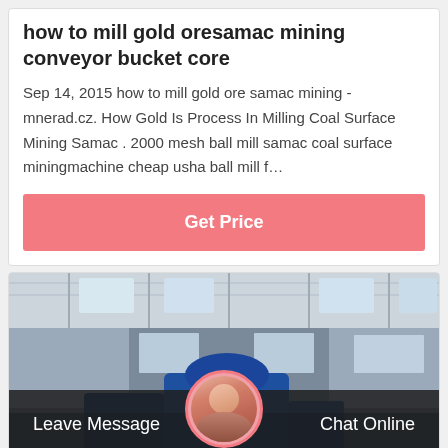how to mill gold oresamac mining conveyor bucket core
Sep 14, 2015 how to mill gold ore samac mining - mnerad.cz. How Gold Is Process In Milling Coal Surface Mining Samac . 2000 mesh ball mill samac coal surface miningmachine cheap usha ball mill f…
[Figure (photo): Interior of an industrial factory/warehouse with a large blue milling machine in the foreground, steel roof structure and windows visible in the background]
Leave Message
Chat Online